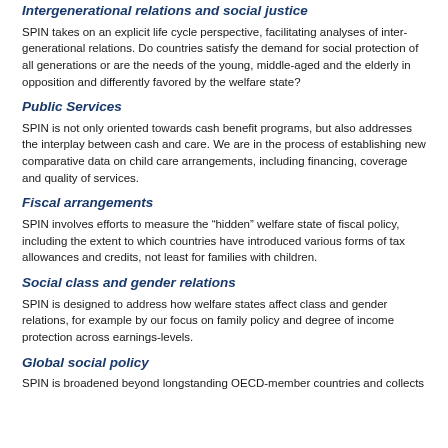Intergenerational relations and social justice
SPIN takes on an explicit life cycle perspective, facilitating analyses of inter-generational relations. Do countries satisfy the demand for social protection of all generations or are the needs of the young, middle-aged and the elderly in opposition and differently favored by the welfare state?
Public Services
SPIN is not only oriented towards cash benefit programs, but also addresses the interplay between cash and care. We are in the process of establishing new comparative data on child care arrangements, including financing, coverage and quality of services.
Fiscal arrangements
SPIN involves efforts to measure the “hidden” welfare state of fiscal policy, including the extent to which countries have introduced various forms of tax allowances and credits, not least for families with children.
Social class and gender relations
SPIN is designed to address how welfare states affect class and gender relations, for example by our focus on family policy and degree of income protection across earnings-levels.
Global social policy
SPIN is broadened beyond longstanding OECD-member countries and collects